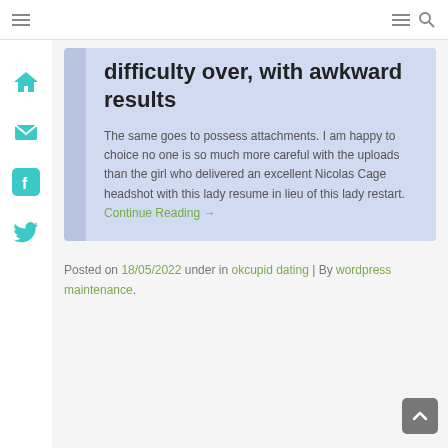Navigation bar with hamburger menus and search icon
difficulty over, with awkward results
The same goes to possess attachments. I am happy to choice no one is so much more careful with the uploads than the girl who delivered an excellent Nicolas Cage headshot with this lady resume in lieu of this lady restart. Continue Reading →
Posted on 18/05/2022 under in okcupid dating | By wordpress maintenance.